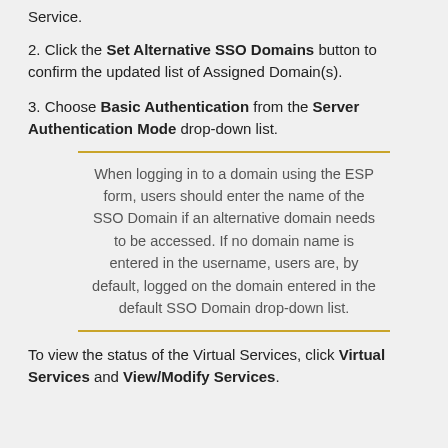Service.
2. Click the Set Alternative SSO Domains button to confirm the updated list of Assigned Domain(s).
3. Choose Basic Authentication from the Server Authentication Mode drop-down list.
When logging in to a domain using the ESP form, users should enter the name of the SSO Domain if an alternative domain needs to be accessed. If no domain name is entered in the username, users are, by default, logged on the domain entered in the default SSO Domain drop-down list.
To view the status of the Virtual Services, click Virtual Services and View/Modify Services.